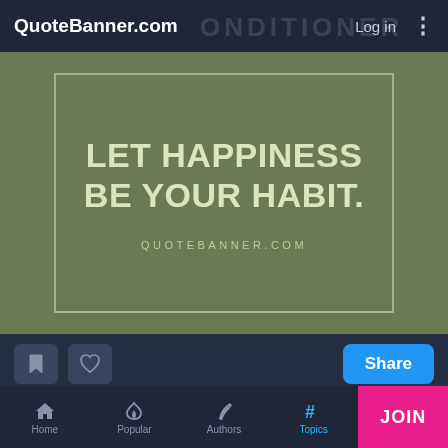QuoteBanner.com   Log in
[Figure (illustration): Quote banner image on olive/khaki background with border, displaying: LET HAPPINESS BE YOUR HABIT. QUOTEBANNER.COM]
Decide to be happy under all conditions, let happiness be your habit.
Quoted by Amit Kalantri
Positive
Happiness
Hope
Joy
Live
Optimist
Home   Popular   Authors   Topics   JOIN